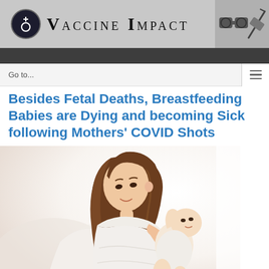VACCINE IMPACT
Go to...
Besides Fetal Deaths, Breastfeeding Babies are Dying and becoming Sick following Mothers' COVID Shots
[Figure (photo): A woman in a white lace dress sitting on a bed, smiling down at a baby she is holding in her arms. The photo has a bright, light-filled background.]